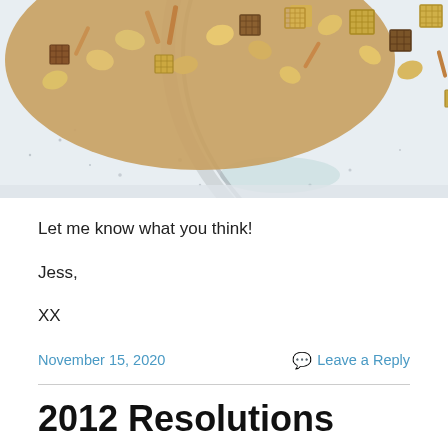[Figure (photo): Top-down photo of a bowl of snack mix (Chex mix with pretzels, nuts, cereal pieces) on a light speckled surface]
Let me know what you think!
Jess,
XX
November 15, 2020
Leave a Reply
2012 Resolutions
Does anyone ever keep resolutions?  This year I am not going to use the same old resolutions, eat healthier,